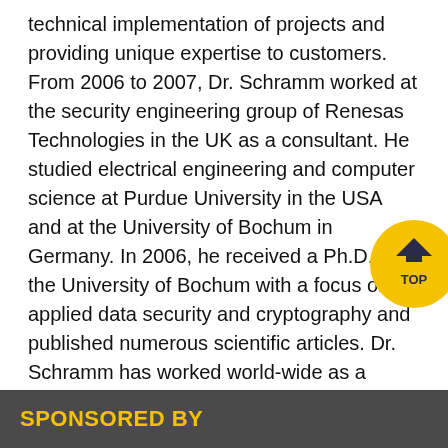technical implementation of projects and providing unique expertise to customers. From 2006 to 2007, Dr. Schramm worked at the security engineering group of Renesas Technologies in the UK as a consultant. He studied electrical engineering and computer science at Purdue University in the USA and at the University of Bochum in Germany. In 2006, he received a Ph.D. at the University of Bochum with a focus on applied data security and cryptography and published numerous scientific articles. Dr. Schramm has worked world-wide as a security researcher, consultant and developer at diverse sites such as the IBM Watson Research Center in Hawthorne, New York, the Infineon Technologies smart card department in Munich, Germany, and the Hitachi Central Research Laboratory in Tokyo, Japan.
[Figure (other): Yellow circular TOP button with upward chevron arrow and text TOP]
SPONSORED BY